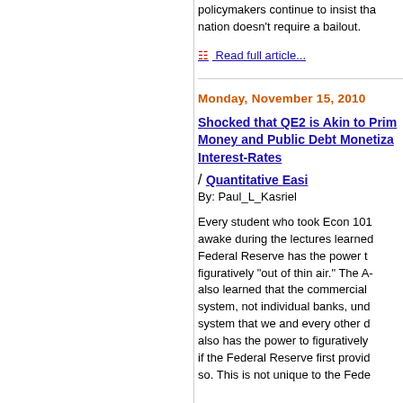policymakers continue to insist that the nation doesn't require a bailout.
Read full article...
Monday, November 15, 2010
Shocked that QE2 is Akin to Printing Money and Public Debt Monetization / Interest-Rates / Quantitative Easi
By: Paul_L_Kasriel
Every student who took Econ 101 and awake during the lectures learned Federal Reserve has the power to figuratively "out of thin air." The A- also learned that the commercial system, not individual banks, und system that we and every other d also has the power to figuratively if the Federal Reserve first provid so. This is not unique to the Fede